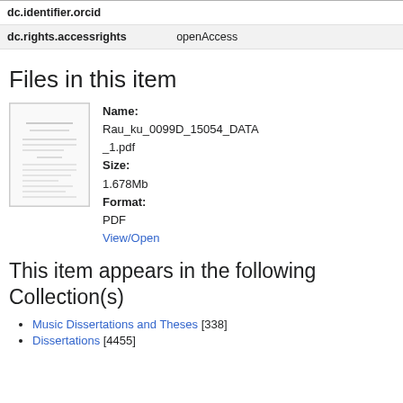| Field | Value |
| --- | --- |
| dc.identifier.orcid |  |
| dc.rights.accessrights | openAccess |
Files in this item
[Figure (other): Thumbnail image of PDF document Rau_ku_0099D_15054_DATA_1.pdf]
Name:
Rau_ku_0099D_15054_DATA_1.pdf
Size:
1.678Mb
Format:
PDF
View/Open
This item appears in the following Collection(s)
Music Dissertations and Theses [338]
Dissertations [4455]